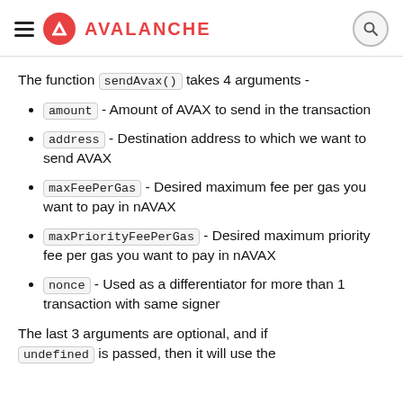AVALANCHE
The function sendAvax() takes 4 arguments -
amount - Amount of AVAX to send in the transaction
address - Destination address to which we want to send AVAX
maxFeePerGas - Desired maximum fee per gas you want to pay in nAVAX
maxPriorityFeePerGas - Desired maximum priority fee per gas you want to pay in nAVAX
nonce - Used as a differentiator for more than 1 transaction with same signer
The last 3 arguments are optional, and if undefined is passed, then it will use the